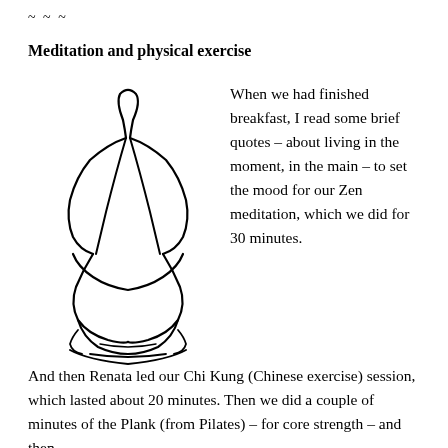~~~
Meditation and physical exercise
[Figure (illustration): Line drawing of a person sitting in a meditation lotus position, viewed from the front-back angle, showing a simplified outline of a seated meditating figure.]
When we had finished breakfast, I read some brief quotes – about living in the moment, in the main – to set the mood for our Zen meditation, which we did for 30 minutes.  And then Renata led our Chi Kung (Chinese exercise) session, which lasted about 20 minutes.  Then we did a couple of minutes of the Plank (from Pilates) – for core strength – and then